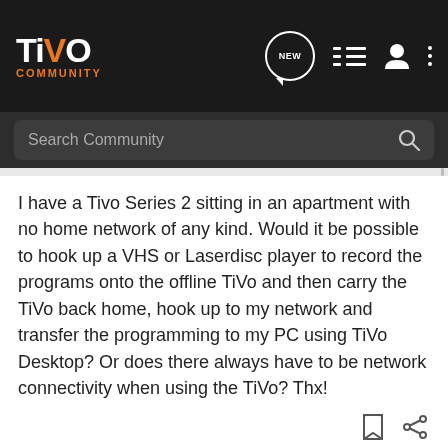TiVo Community
I have a Tivo Series 2 sitting in an apartment with no home network of any kind. Would it be possible to hook up a VHS or Laserdisc player to record the programs onto the offline TiVo and then carry the TiVo back home, hook up to my network and transfer the programming to my PC using TiVo Desktop? Or does there always have to be network connectivity when using the TiVo? Thx!
Dan203 · Super Moderator
Joined Apr 17, 2000 · 59,713 Posts
#2 · Dec 18, 2015